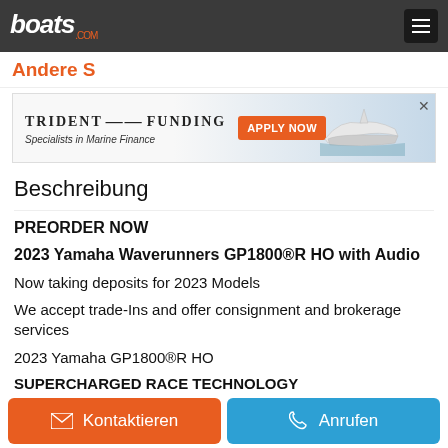boats.com
Andere S
[Figure (screenshot): Trident Funding advertisement banner with 'Specialists in Marine Finance' tagline, orange 'APPLY NOW' button, and boat image]
Beschreibung
PREORDER NOW
2023 Yamaha Waverunners GP1800®R HO with Audio
Now taking deposits for 2023 Models
We accept trade-Ins and offer consignment and brokerage services
2023 Yamaha GP1800®R HO
SUPERCHARGED RACE TECHNOLOGY
Kontaktieren  Anrufen